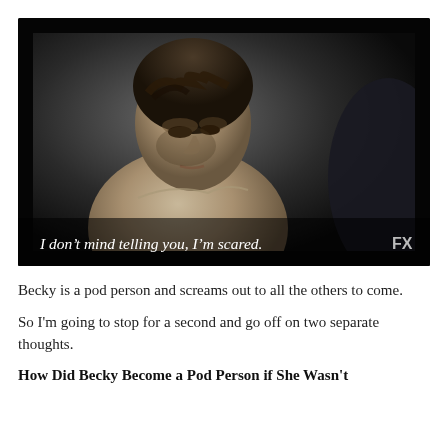[Figure (photo): A shirtless young man with dark curly hair looking downward with an intense expression in a dark scene from an FX TV show. A subtitle reads: 'I don't mind telling you, I'm scared.' with the FX logo in the lower right corner.]
Becky is a pod person and screams out to all the others to come.
So I'm going to stop for a second and go off on two separate thoughts.
How Did Becky Become a Pod Person if She Wasn't